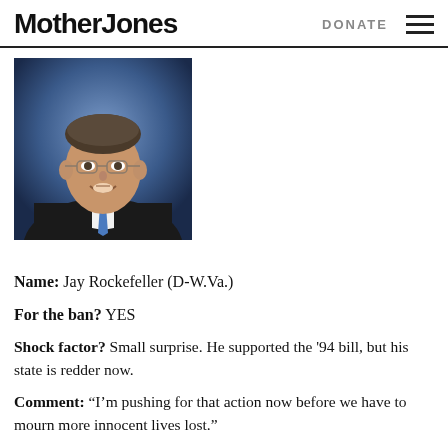Mother Jones | DONATE
[Figure (photo): Headshot of Jay Rockefeller, a middle-aged man in a dark suit with a blue tie, smiling, wearing glasses, against a blue/dark background.]
Name: Jay Rockefeller (D-W.Va.)
For the ban? YES
Shock factor? Small surprise. He supported the '94 bill, but his state is redder now.
Comment: “I’m pushing for that action now before we have to mourn more innocent lives lost.”